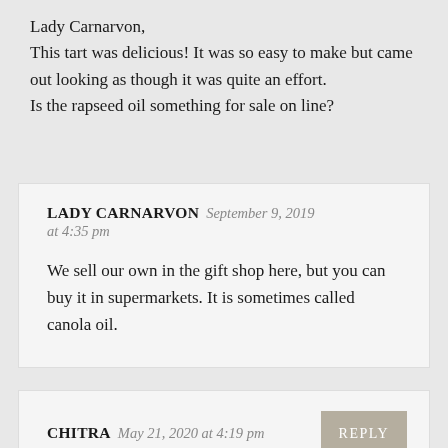Lady Carnarvon,
This tart was delicious! It was so easy to make but came out looking as though it was quite an effort.
Is the rapseed oil something for sale on line?
LADY CARNARVON September 9, 2019 at 4:35 pm
We sell our own in the gift shop here, but you can buy it in supermarkets. It is sometimes called canola oil.
CHITRA May 21, 2020 at 4:19 pm